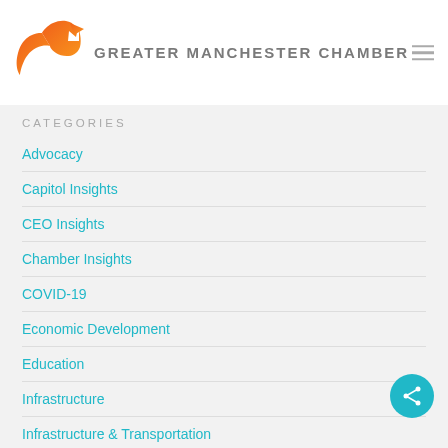[Figure (logo): Greater Manchester Chamber logo with orange arrow/ribbon shape and text]
CATEGORIES
Advocacy
Capitol Insights
CEO Insights
Chamber Insights
COVID-19
Economic Development
Education
Infrastructure
Infrastructure & Transportation